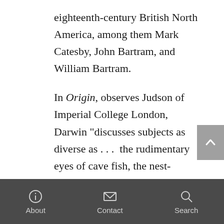eighteenth-century British North America, among them Mark Catesby, John Bartram, and William Bartram.
In Origin, observes Judson of Imperial College London, Darwin "discusses subjects as diverse as . . .  the rudimentary eyes of cave fish, the nest-building instincts of honeybees, the evolving size of gooseberries (they've been getting bigger), wingless beetles on the island of Madeira, and algae in New Zealand."
About   Contact   Search